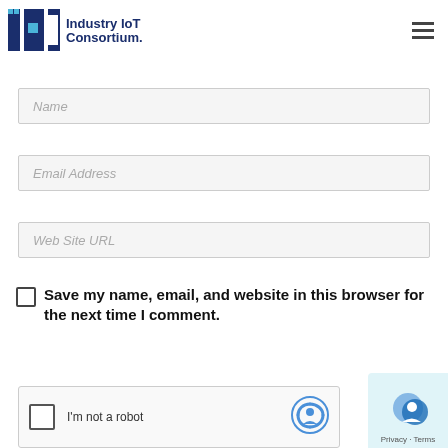[Figure (logo): Industry IoT Consortium logo with IIC letters and blue squares, hamburger menu icon on the right]
Name
Email Address
Web Site URL
Save my name, email, and website in this browser for the next time I comment.
I'm not a robot